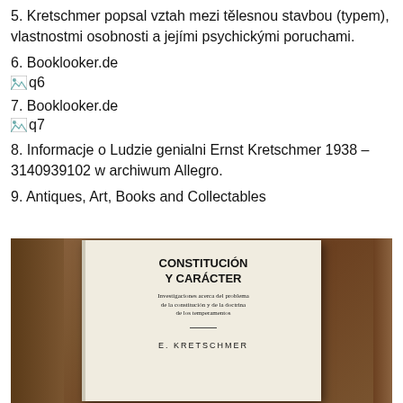5. Kretschmer popsal vztah mezi tělesnou stavbou (typem), vlastnostmi osobnosti a jejími psychickými poruchami.
6. Booklooker.de
[Figure (photo): Broken image placeholder labeled q6]
7. Booklooker.de
[Figure (photo): Broken image placeholder labeled q7]
8. Informacje o Ludzie genialni Ernst Kretschmer 1938 – 3140939102 w archiwum Allegro.
9. Antiques, Art, Books and Collectables
[Figure (photo): Photo of a book titled 'CONSTITUCIÓN Y CARÁCTER' with subtitle 'Investigaciones acerca del problema de la constitución y de la doctrina de los temperamentos' by E. KRETSCHMER, placed on a wooden surface]